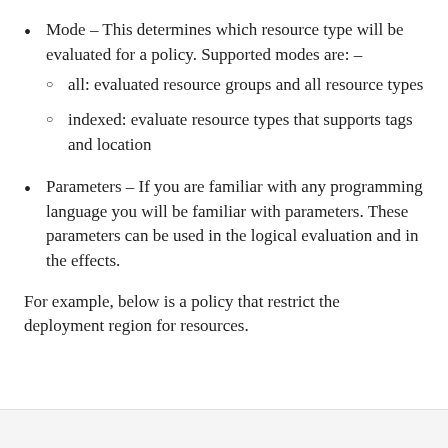Mode – This determines which resource type will be evaluated for a policy. Supported modes are: –
all: evaluated resource groups and all resource types
indexed: evaluate resource types that supports tags and location
Parameters – If you are familiar with any programming language you will be familiar with parameters. These parameters can be used in the logical evaluation and in the effects.
For example, below is a policy that restrict the deployment region for resources.